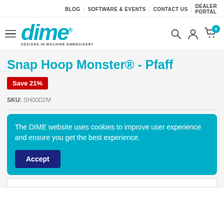BLOG | SOFTWARE & EVENTS | CONTACT US | DEALER PORTAL
[Figure (logo): DIME - Designs in Machine Embroidery logo in teal/cyan color with italic bold text and registered trademark symbol]
Snap Hoop Monster® - Pfaff
Save 21%
SKU: SH00D2M
The DIME website uses cookies to improve user experience and ensure you get the best experience.